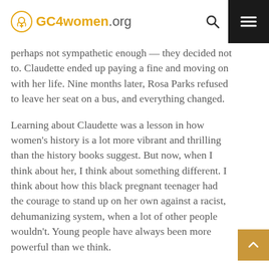GC4women.org
perhaps not sympathetic enough — they decided not to. Claudette ended up paying a fine and moving on with her life. Nine months later, Rosa Parks refused to leave her seat on a bus, and everything changed.
Learning about Claudette was a lesson in how women's history is a lot more vibrant and thrilling than the history books suggest. But now, when I think about her, I think about something different. I think about how this black pregnant teenager had the courage to stand up on her own against a racist, dehumanizing system, when a lot of other people wouldn't. Young people have always been more powerful than we think.